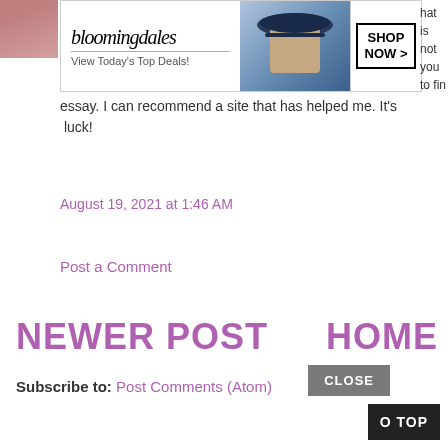[Figure (other): Bloomingdales advertisement banner with logo, model with hat, and SHOP NOW button]
essay. I can recommend a site that has helped me. It's … luck!
August 19, 2021 at 1:46 AM
Post a Comment
NEWER POST
HOME
Subscribe to: Post Comments (Atom)
CLOSE
O TOP